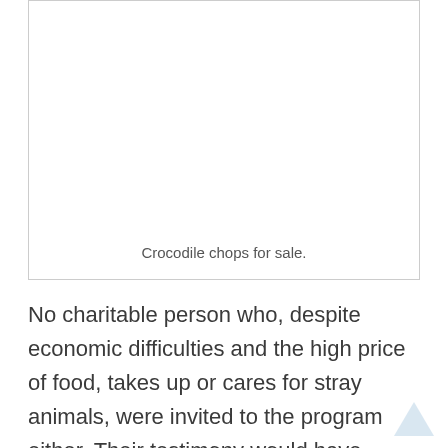[Figure (photo): Empty white image box with a caption below reading 'Crocodile chops for sale.']
Crocodile chops for sale.
No charitable person who, despite economic difficulties and the high price of food, takes up or cares for stray animals, were invited to the program either. Their testimony would have been key to